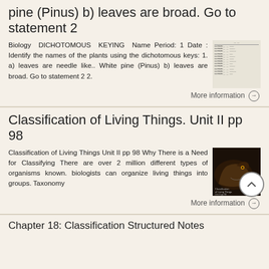pine (Pinus) b) leaves are broad. Go to statement 2
Biology DICHOTOMOUS KEYING Name Period: 1 Date : Identify the names of the plants using the dichotomous keys: 1. a) leaves are needle like.. White pine (Pinus) b) leaves are broad. Go to statement 2 2.
[Figure (illustration): Small thumbnail image of a worksheet with text lines]
More information →
Classification of Living Things. Unit II pp 98
Classification of Living Things Unit II pp 98 Why There is a Need for Classifying There are over 2 million different types of organisms known. biologists can organize living things into groups. Taxonomy
[Figure (photo): Dark photo of a reptile/dinosaur with text overlay reading 'Classification of Living Things Unit II pp 98']
More information →
Chapter 18: Classification Structured Notes